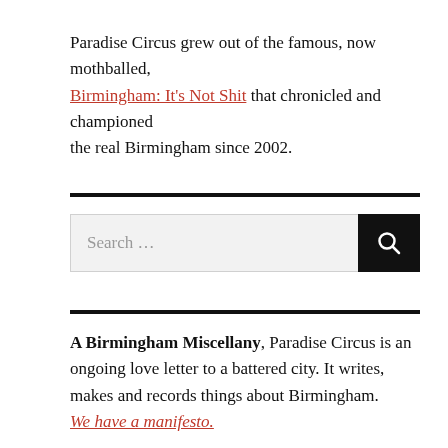Paradise Circus grew out of the famous, now mothballed, Birmingham: It's Not Shit that chronicled and championed the real Birmingham since 2002.
[Figure (other): Search bar UI element with text input field showing 'Search ...' placeholder and a black search button with magnifying glass icon]
A Birmingham Miscellany, Paradise Circus is an ongoing love letter to a battered city. It writes, makes and records things about Birmingham. We have a manifesto.